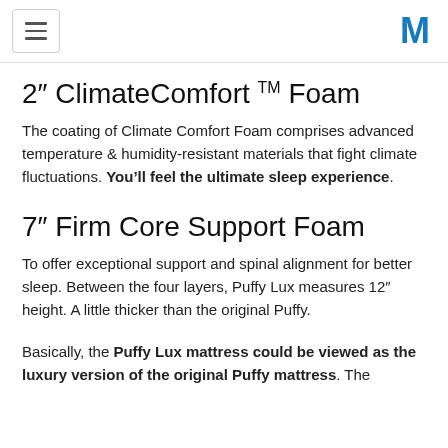[hamburger menu] [M logo]
2″ ClimateComfort TM Foam
The coating of Climate Comfort Foam comprises advanced temperature & humidity-resistant materials that fight climate fluctuations. You’ll feel the ultimate sleep experience.
7″ Firm Core Support Foam
To offer exceptional support and spinal alignment for better sleep. Between the four layers, Puffy Lux measures 12″ height. A little thicker than the original Puffy.
Basically, the Puffy Lux mattress could be viewed as the luxury version of the original Puffy mattress. The